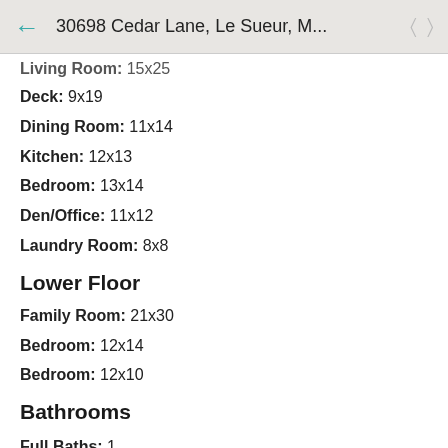30698 Cedar Lane, Le Sueur, M...
Living Room: 15x25
Deck: 9x19
Dining Room: 11x14
Kitchen: 12x13
Bedroom: 13x14
Den/Office: 11x12
Laundry Room: 8x8
Lower Floor
Family Room: 21x30
Bedroom: 12x14
Bedroom: 12x10
Bathrooms
Full Baths: 1
3/4 Baths: 1
1/2 Baths: 1